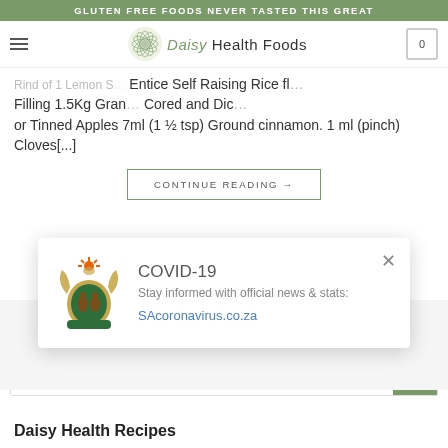GLUTEN FREE FOODS NEVER TASTED THIS GREAT
[Figure (logo): Daisy Health Foods logo with decorative flower circle and text]
Rind of 1 Lemon Self Raising Rice flour Filling 1.5Kg Gran- Cored and Dice- or Tinned Apples 7ml (1 ½ tsp) Ground cinnamon. 1 ml (pinch) Cloves[...]
CONTINUE READING →
[Figure (infographic): COVID-19 popup overlay with South Africa coat of arms, title COVID-19, subtitle Stay informed with official news & stats:, link SAcoronavirus.co.za, and close button X]
Search...
Daisy Health Recipes